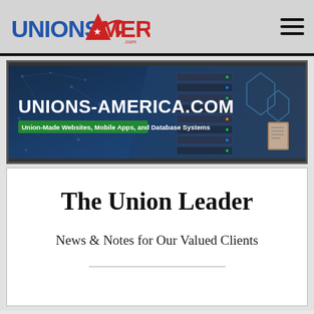UNIONS AMERICA | Navigation bar with logo and hamburger menu
[Figure (screenshot): Unions-America.com banner with text: UNIONS-AMERICA.COM — Union-Made Websites, Mobile Apps, and Database Systems, dark blue background with network graphics and server/technology imagery]
The Union Leader
News & Notes for Our Valued Clients